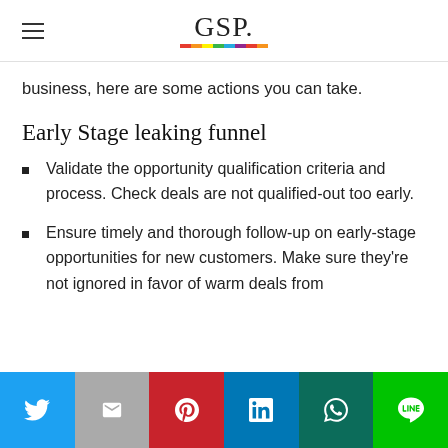GSP.
business, here are some actions you can take.
Early Stage leaking funnel
Validate the opportunity qualification criteria and process. Check deals are not qualified-out too early.
Ensure timely and thorough follow-up on early-stage opportunities for new customers. Make sure they’re not ignored in favor of warm deals from